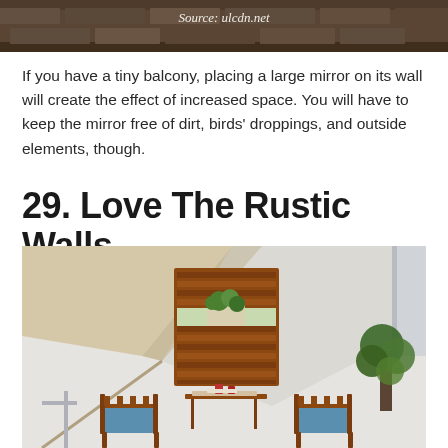[Figure (photo): Top portion of a photo showing a decorative stone wall or architectural detail, with a source watermark overlay]
Source: ulcdn.net
If you have a tiny balcony, placing a large mirror on its wall will create the effect of increased space. You will have to keep the mirror free of dirt, birds' droppings, and outside elements, though.
29. Love The Rustic Walls
[Figure (photo): A small balcony with rustic wooden wall panels, a bistro table and two wooden chairs with blue cushions, potted plants, and a large cream-colored umbrella on a white textured wall]